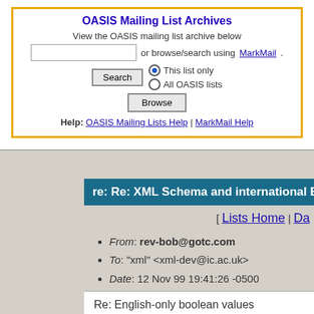OASIS Mailing List Archives
View the OASIS mailing list archive below or browse/search using MarkMail.
Help: OASIS Mailing Lists Help | MarkMail Help
re: Re: XML Schema and international B
[ Lists Home | Da
From: rev-bob@gotc.com
To: "xml" <xml-dev@ic.ac.uk>
Date: 12 Nov 99 19:41:26 -0500
Re: English-only boolean values
> The best practical steps you should take
>   1) come up with a little complaint, an a